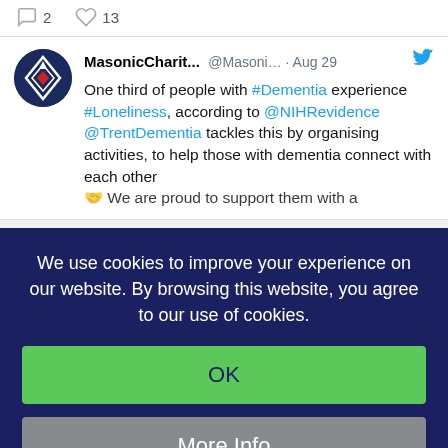2  13
[Figure (screenshot): Tweet from MasonicCharit... @Masoni... Aug 29 with Twitter bird icon and avatar logo. Text: One third of people with #Dementia experience #Loneliness, according to @NIHRevidence @TrentDementia tackles this by organising activities, to help those with dementia connect with each other. (clipped: We are proud to support them with a...)]
We use cookies to improve your experience on our website. By browsing this website, you agree to our use of cookies.
OK
More Info
Decline